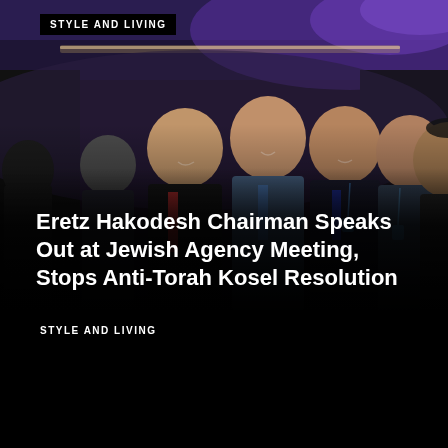[Figure (photo): Group of five men in suits smiling at a formal event in a large ballroom with purple-lit ceiling. They are posed together for a photo.]
STYLE AND LIVING
Eretz Hakodesh Chairman Speaks Out at Jewish Agency Meeting, Stops Anti-Torah Kosel Resolution
STYLE AND LIVING